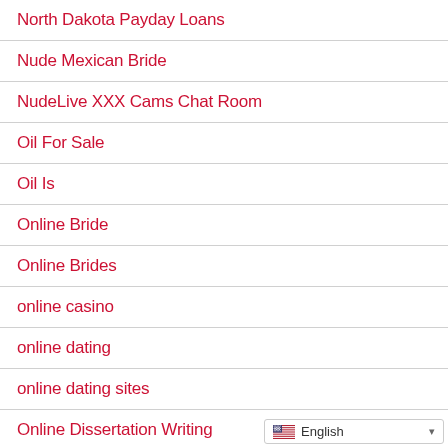North Dakota Payday Loans
Nude Mexican Bride
NudeLive XXX Cams Chat Room
Oil For Sale
Oil Is
Online Bride
Online Brides
online casino
online dating
online dating sites
Online Dissertation Writing
Online Installment Loans Tennessee